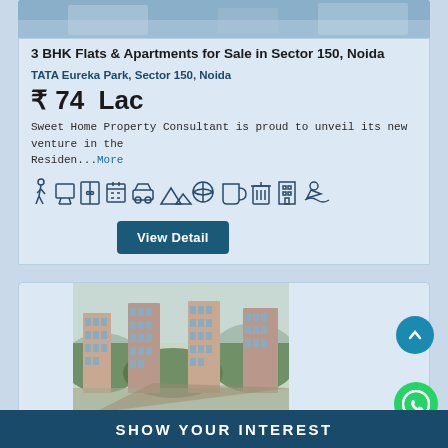[Figure (photo): Aerial view of apartment complex at top of listing card]
3 BHK Flats & Apartments for Sale in Sector 150, Noida
TATA Eureka Park, Sector 150, Noida
₹ 74 Lac
Sweet Home Property Consultant is proud to unveil its new venture in the Residen...More
[Figure (illustration): Row of amenity icons: walking, TV, wardrobe, calendar/schedule, car, landscape, basketball, coffee/cup, trash, building, swimming]
View Detail
[Figure (photo): Aerial view of large residential apartment towers surrounded by greenery]
SHOW YOUR INTEREST